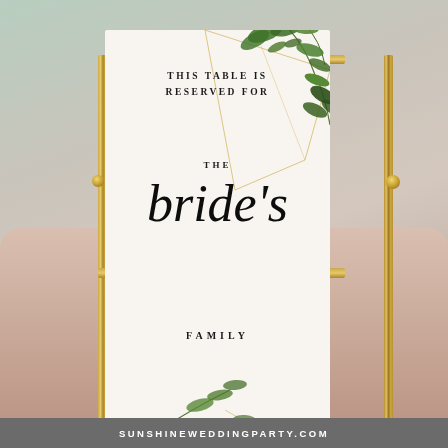[Figure (photo): A wedding reserved table sign reading 'This table is reserved for THE bride's FAMILY' displayed in a gold geometric frame with greenery/botanical decoration at top-right and bottom-left corners, placed on a blush table surface.]
SUNSHINEWEDDINGPARTY.COM